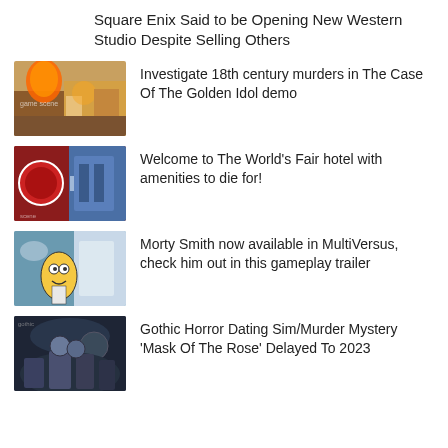Square Enix Said to be Opening New Western Studio Despite Selling Others
Investigate 18th century murders in The Case Of The Golden Idol demo
Welcome to The World's Fair hotel with amenities to die for!
Morty Smith now available in MultiVersus, check him out in this gameplay trailer
Gothic Horror Dating Sim/Murder Mystery 'Mask Of The Rose' Delayed To 2023